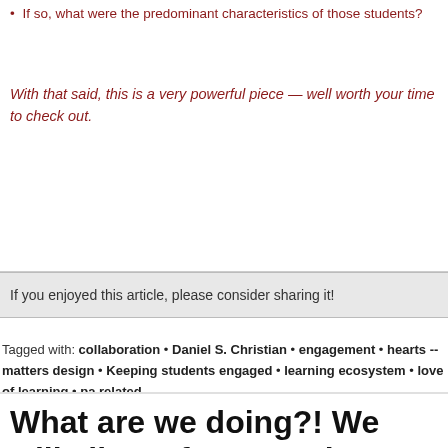If so, what were the predominant characteristics of those students?
With that said, this is a very powerful piece — well worth your time to check out.
If you enjoyed this article, please consider sharing it!
Tagged with: collaboration • Daniel S. Christian • engagement • hearts -- matters design • Keeping students engaged • learning ecosystem • love of learning • pa related
What are we doing?! We will all pay fo strategies — for generations to come! new goals!